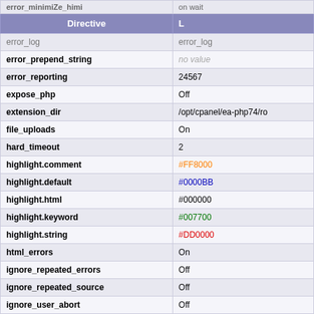| Directive | L |
| --- | --- |
| error_log | error_log |
| error_prepend_string | no value |
| error_reporting | 24567 |
| expose_php | Off |
| extension_dir | /opt/cpanel/ea-php74/ro |
| file_uploads | On |
| hard_timeout | 2 |
| highlight.comment | #FF8000 |
| highlight.default | #0000BB |
| highlight.html | #000000 |
| highlight.keyword | #007700 |
| highlight.string | #DD0000 |
| html_errors | On |
| ignore_repeated_errors | Off |
| ignore_repeated_source | Off |
| ignore_user_abort | Off |
| implicit_flush | Off |
| include_path | :/opt/cpanel/ea-php74/ |
| input_encoding | no value |